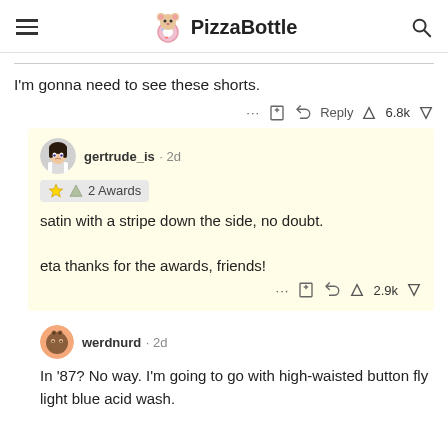PizzaBottle
I'm gonna need to see these shorts.
... [bookmark] [reply] Reply 6.8k [vote up] [vote down]
gertrude_is · 2d
2 Awards
satin with a stripe down the side, no doubt.

eta thanks for the awards, friends!
... [bookmark] [reply] 2.9k [vote up] [vote down]
werdnurd · 2d
In '87? No way. I'm going to go with high-waisted button fly light blue acid wash.